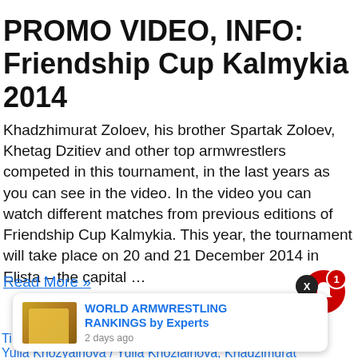PROMO VIDEO, INFO: Friendship Cup Kalmykia 2014
Khadzhimurat Zoloev, his brother Spartak Zoloev, Khetag Dzitiev and other top armwrestlers competed in this tournament, in the last years as you can see in the video. In the video you can watch different matches from previous editions of Friendship Cup Kalmykia. This year, the tournament will take place on 20 and 21 December 2014 in Elista – the capital …
Read More »
[Figure (screenshot): Notification bell icon (red) with X close button and badge showing '1']
[Figure (screenshot): Popup notification with thumbnail image showing 'WORLD ARMWRESTLING RANKINGS by Experts' posted '2 days ago']
Ti... Khozyainova / Yulia Khozyainova / Yulia Khoziainova, Khadzimurat